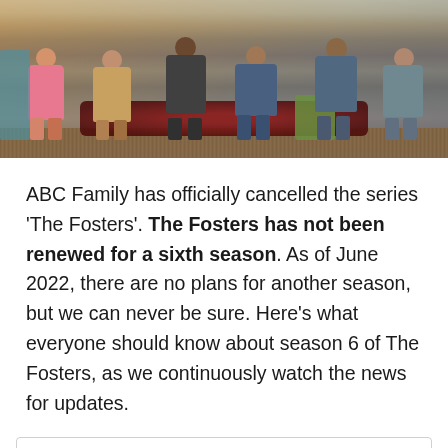[Figure (photo): Group photo of The Fosters TV show cast members sitting and standing on a porch/deck area with a red rug]
ABC Family has officially cancelled the series 'The Fosters'. The Fosters has not been renewed for a sixth season. As of June 2022, there are no plans for another season, but we can never be sure. Here's what everyone should know about season 6 of The Fosters, as we continuously watch the news for updates.
| TYPE TV | SEASON | RATING | GENRE |
| --- | --- | --- | --- |